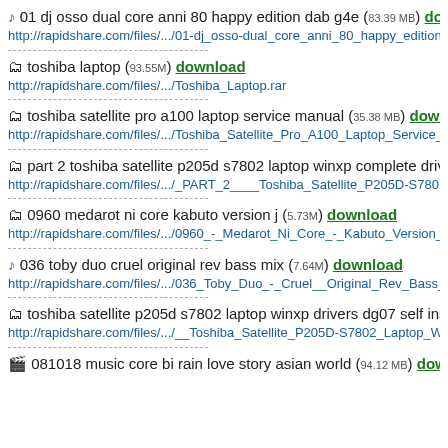♪ 01 dj osso dual core anni 80 happy edition dab g4e (83.39 MB) download
http://rapidshare.com/files/.../01-dj_osso-dual_core_anni_80_happy_edition-
🗂 toshiba laptop (93.55M) download
http://rapidshare.com/files/.../Toshiba_Laptop.rar
🗂 toshiba satellite pro a100 laptop service manual (35.38 MB) download
http://rapidshare.com/files/.../Toshiba_Satellite_Pro_A100_Laptop_Service_
🗂 part 2 toshiba satellite p205d s7802 laptop winxp complete drivers s
http://rapidshare.com/files/.../_PART_2____Toshiba_Satellite_P205D-S7802
🗂 0960 medarot ni core kabuto version j (5.73M) download
http://rapidshare.com/files/.../0960_-_Medarot_Ni_Core_-_Kabuto_Version_
♪ 036 toby duo cruel original rev bass mix (7.64M) download
http://rapidshare.com/files/.../036_Toby_Duo_-_Cruel__Original_Rev_Bass_
🗂 toshiba satellite p205d s7802 laptop winxp drivers dg07 self install a
http://rapidshare.com/files/.../__Toshiba_Satellite_P205D-S7802_Laptop_W
🎬 081018 music core bi rain love story asian world (94.12 MB) download